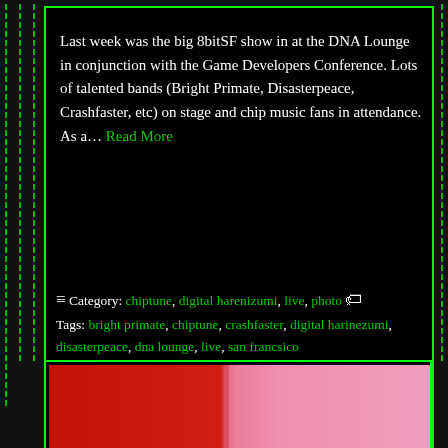Last week was the big 8bitSF show in at the DNA Lounge in conjunction with the Game Developers Conference. Lots of talented bands (Bright Primate, Disasterpeace, Crashfaster, etc) on stage and chip music fans in attendance. As a… Read More
≡ Category: chiptune, digital harenizumi, live, photo 🏷 Tags: bright primate, chiptune, crashfaster, digital harinezumi, disasterpeace, dna lounge, live, san francsico
[Figure (photo): Partially visible photo showing red and pink blurred background, likely a concert or event scene]